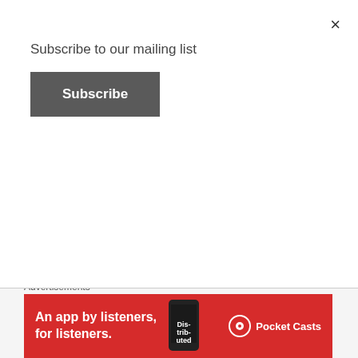Subscribe to our mailing list
Subscribe
from Irish artist Kean Kavanagh. The song feels both both groovy and calming. Kavanagh created it with some musical support from Ryan Hargadon, who added synths and sax melodies. About “Summer Nights”, Kean states: “I wrote this song about a recurring dream I was having the past year, and
Advertisements
[Figure (photo): Red Pocket Casts advertisement banner with text 'An app by listeners, for listeners.' and phone graphic]